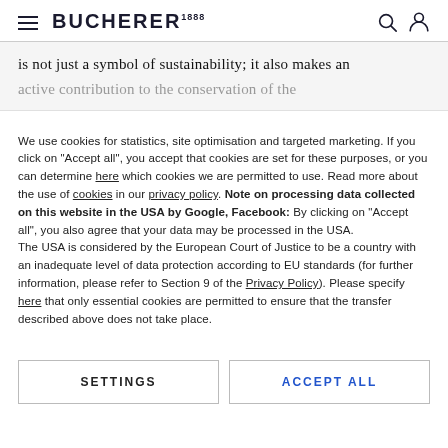BUCHERER 1888
is not just a symbol of sustainability; it also makes an active contribution to the conservation of the
We use cookies for statistics, site optimisation and targeted marketing. If you click on "Accept all", you accept that cookies are set for these purposes, or you can determine here which cookies we are permitted to use. Read more about the use of cookies in our privacy policy. Note on processing data collected on this website in the USA by Google, Facebook: By clicking on "Accept all", you also agree that your data may be processed in the USA.
The USA is considered by the European Court of Justice to be a country with an inadequate level of data protection according to EU standards (for further information, please refer to Section 9 of the Privacy Policy). Please specify here that only essential cookies are permitted to ensure that the transfer described above does not take place.
SETTINGS
ACCEPT ALL